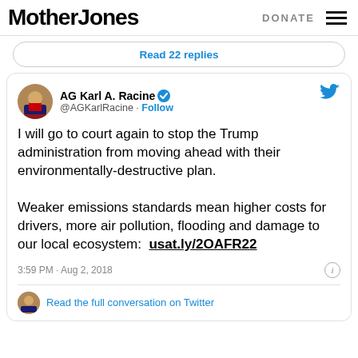MotherJones | DONATE
Read 22 replies
[Figure (screenshot): Tweet by AG Karl A. Racine (@AGKarlRacine) with verified badge. Tweet text: 'I will go to court again to stop the Trump administration from moving ahead with their environmentally-destructive plan. Weaker emissions standards mean higher costs for drivers, more air pollution, flooding and damage to our local ecosystem: usat.ly/2OAFR22'. Timestamp: 3:59 PM · Aug 2, 2018. Footer: Read the full conversation on Twitter.]